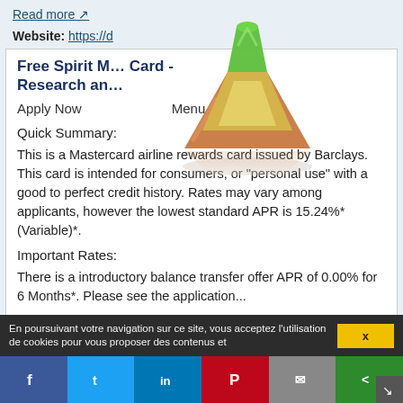Read more ↗
Website: https://d...
[Figure (illustration): A colorful 3D cone/pyramid shaped logo icon with green top and orange/yellow lower sections, with a slight reflection at the base.]
Free Spirit M... Card - Research an...
Apply Now    Menu
Quick Summary:
This is a Mastercard airline rewards card issued by Barclays. This card is intended for consumers, or "personal use" with a good to perfect credit history. Rates may vary among applicants, however the lowest standard APR is 15.24%* (Variable)*.
Important Rates:
There is a introductory balance transfer offer APR of 0.00% for 6 Months*. Please see the application...
Read more ↗
En poursuivant votre navigation sur ce site, vous acceptez l'utilisation de cookies pour vous proposer des contenus et...
X